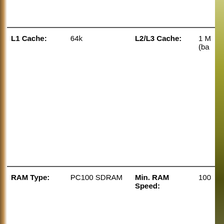| Field | Value | Field | Value |
| --- | --- | --- | --- |
| L1 Cache: | 64k | L2/L3 Cache: | 1 M...(ba... |
| RAM Type: | PC100 SDRAM | Min. RAM Speed: | 100 |
| Standard RAM: | 64 MB | Maximum RAM: | 1 G |